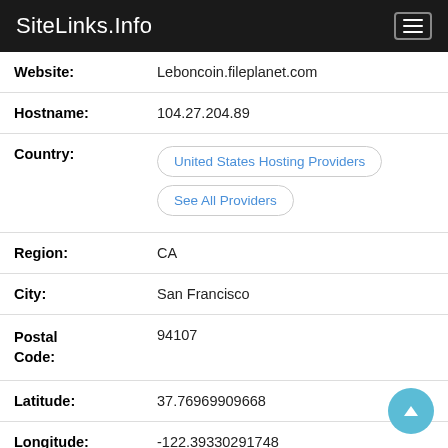SiteLinks.Info
| Field | Value |
| --- | --- |
| Website: | Leboncoin.fileplanet.com |
| Hostname: | 104.27.204.89 |
| Country: | United States Hosting Providers
See All Providers |
| Region: | CA |
| City: | San Francisco |
| Postal Code: | 94107 |
| Latitude: | 37.76969909668 |
| Longitude: | -122.39330291748 |